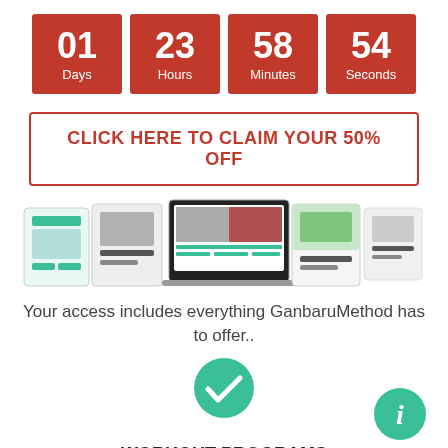[Figure (infographic): Countdown timer with four red boxes showing: 01 Days, 23 Hours, 58 Minutes, 54 Seconds]
CLICK HERE TO CLAIM YOUR 50% OFF
[Figure (screenshot): Product mockup showing fitness app on laptop and mobile screens with workout programs]
Your access includes everything GanbaruMethod has to offer..
[Figure (illustration): Green teal circle with white checkmark icon and green teal circle with white info 'i' icon]
WORKOUT PROGRAMS
Instant access to over 20 full 12 week workout